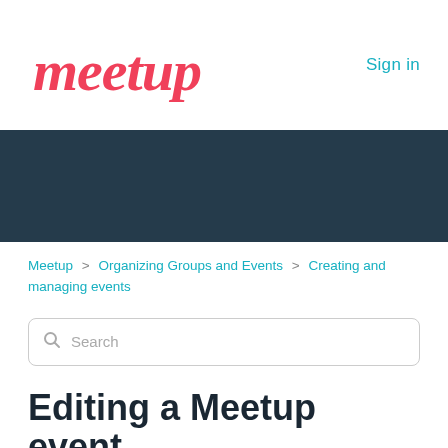[Figure (logo): Meetup logo in red/coral script font]
Sign in
[Figure (other): Dark navy decorative banner background]
Meetup > Organizing Groups and Events > Creating and managing events
Search
Editing a Meetup event
When plans change or new details arise, it's